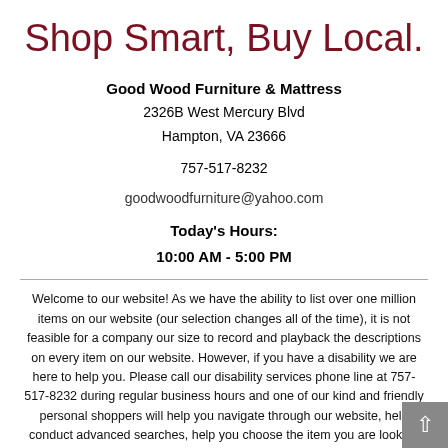Shop Smart, Buy Local.
Good Wood Furniture & Mattress
2326B West Mercury Blvd
Hampton, VA 23666

757-517-8232

goodwoodfurniture@yahoo.com

Today's Hours:
10:00 AM - 5:00 PM
Welcome to our website! As we have the ability to list over one million items on our website (our selection changes all of the time), it is not feasible for a company our size to record and playback the descriptions on every item on our website. However, if you have a disability we are here to help you. Please call our disability services phone line at 757-517-8232 during regular business hours and one of our kind and friendly personal shoppers will help you navigate through our website, help conduct advanced searches, help you choose the item you are looking for with the specifications you are seeking, read you the specifications of any item and consult with you about